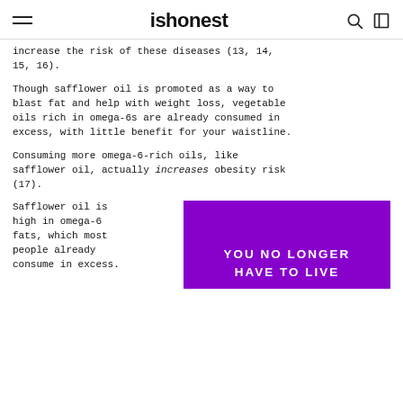ishonest
increase the risk of these diseases (13, 14, 15, 16).
Though safflower oil is promoted as a way to blast fat and help with weight loss, vegetable oils rich in omega-6s are already consumed in excess, with little benefit for your waistline.
Consuming more omega-6-rich oils, like safflower oil, actually increases obesity risk (17).
Safflower oil is high in omega-6 fats, which most people already consume in excess.
[Figure (infographic): Purple banner with white bold text reading: YOU NO LONGER HAVE TO LIVE]